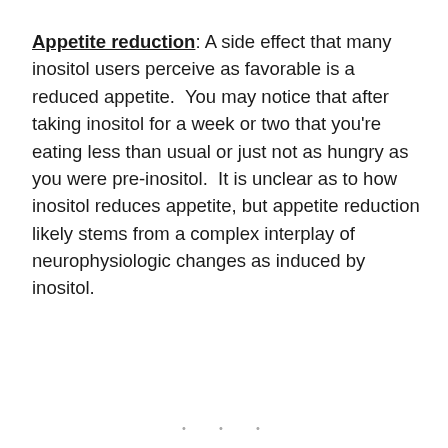Appetite reduction: A side effect that many inositol users perceive as favorable is a reduced appetite.  You may notice that after taking inositol for a week or two that you're eating less than usual or just not as hungry as you were pre-inositol.  It is unclear as to how inositol reduces appetite, but appetite reduction likely stems from a complex interplay of neurophysiologic changes as induced by inositol.
• • •